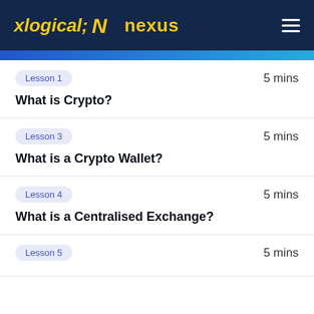N nexus
Lesson 1 | 5 mins | What is Crypto?
Lesson 3 | 5 mins | What is a Crypto Wallet?
Lesson 4 | 5 mins | What is a Centralised Exchange?
Lesson 5 | 5 mins